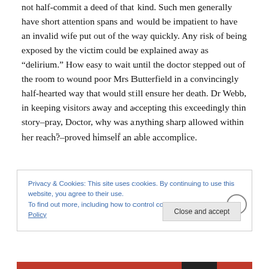not half-commit a deed of that kind. Such men generally have short attention spans and would be impatient to have an invalid wife put out of the way quickly. Any risk of being exposed by the victim could be explained away as “delirium.” How easy to wait until the doctor stepped out of the room to wound poor Mrs Butterfield in a convincingly half-hearted way that would still ensure her death. Dr Webb, in keeping visitors away and accepting this exceedingly thin story–pray, Doctor, why was anything sharp allowed within her reach?–proved himself an able accomplice.
Privacy & Cookies: This site uses cookies. By continuing to use this website, you agree to their use.
To find out more, including how to control cookies, see here: Cookie Policy